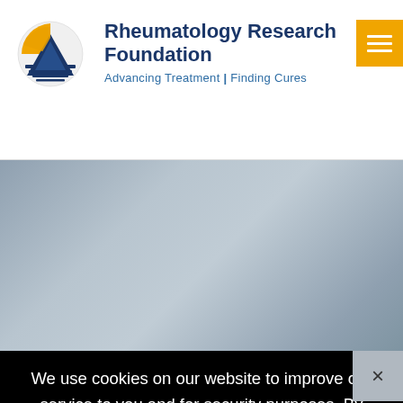[Figure (logo): Rheumatology Research Foundation logo: circular emblem with gold/blue triangle and horizontal blue lines]
Rheumatology Research Foundation
Advancing Treatment | Finding Cures
[Figure (other): Yellow/gold hamburger menu button with three white horizontal bars]
[Figure (photo): Gray-blue gradient banner image area]
[Figure (other): Gray close (X) button for cookie notification]
We use cookies on our website to improve our service to you and for security purposes. By continuing to use our site without changing your browser cookie settings, you agree to our privacy policy and the use of cookies - Learn More
Accept